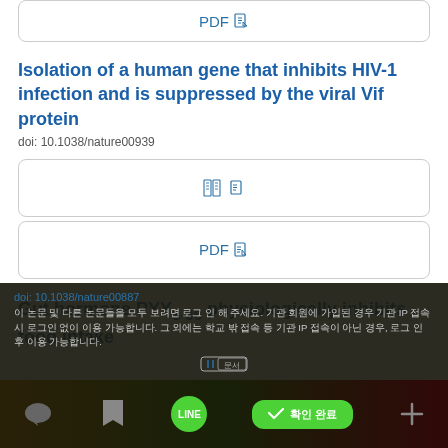[Figure (screenshot): PDF button at top of page]
Isolation of a human gene that inhibits HIV-1 infection and is suppressed by the viral Vif protein
doi: 10.1038/nature00939
[Figure (screenshot): Full text button]
[Figure (screenshot): PDF button]
Gut hormone PYY3-36 physiologically inhibits food intake
doi: 10.1038/nature00887
Korean language text describing the article content and usage information.
[Figure (screenshot): App bottom navigation bar with LINE, share, and green button]